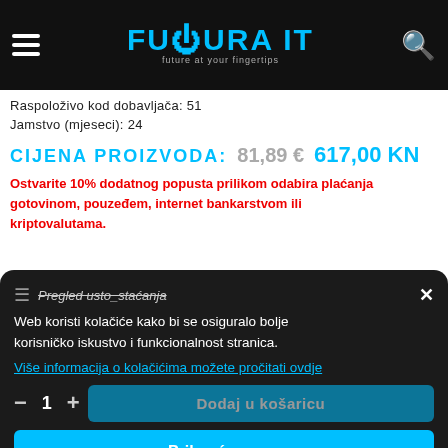FUTURA IT — future at your fingertips
Raspoloživo kod dobavljača: 51
Jamstvo (mjeseci): 24
CIJENA PROIZVODA:  81,89 €  617,00 KN
Ostvarite 10% dodatnog popusta prilikom odabira plaćanja gotovinom, pouzeđem, internet bankarstvom ili kriptovalutama.
Web koristi kolačiće kako bi se osiguralo bolje korisničko iskustvo i funkcionalnost stranica.
Više informacija o kolačićima možete pročitati ovdje
- 1 +   Dodaj u košaricu
Prihvaćam sve
Prihvaćam samo neophodno
Cijena dostave: 25,00 Kn
Dostupnost artikla: Artikl je dostupan